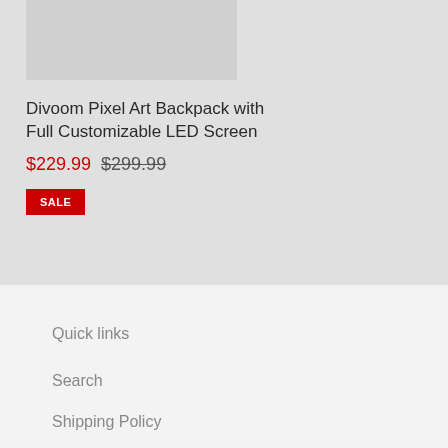[Figure (photo): Product image placeholder for Divoom Pixel Art Backpack, shown as a grey rectangle]
Divoom Pixel Art Backpack with Full Customizable LED Screen
$229.99  $299.99
SALE
Quick links
Search
Shipping Policy